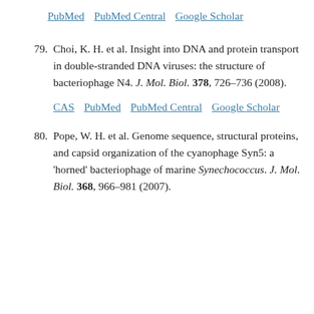PubMed  PubMed Central  Google Scholar
79. Choi, K. H. et al. Insight into DNA and protein transport in double-stranded DNA viruses: the structure of bacteriophage N4. J. Mol. Biol. 378, 726–736 (2008).
CAS  PubMed  PubMed Central  Google Scholar
80. Pope, W. H. et al. Genome sequence, structural proteins, and capsid organization of the cyanophage Syn5: a 'horned' bacteriophage of marine Synechococcus. J. Mol. Biol. 368, 966–981 (2007).